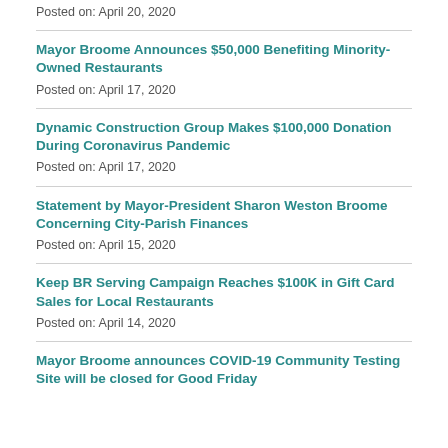Posted on: April 20, 2020
Mayor Broome Announces $50,000 Benefiting Minority-Owned Restaurants
Posted on: April 17, 2020
Dynamic Construction Group Makes $100,000 Donation During Coronavirus Pandemic
Posted on: April 17, 2020
Statement by Mayor-President Sharon Weston Broome Concerning City-Parish Finances
Posted on: April 15, 2020
Keep BR Serving Campaign Reaches $100K in Gift Card Sales for Local Restaurants
Posted on: April 14, 2020
Mayor Broome announces COVID-19 Community Testing Site will be closed for Good Friday